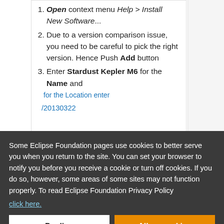Open context menu Help > Install New Software...
Due to a version comparison issue, you need to be careful to pick the right version. Hence Push Add button
Enter Stardust Kepler M6 for the Name and for the Location enter...
Some Eclipse Foundation pages use cookies to better serve you when you return to the site. You can set your browser to notify you before you receive a cookie or turn off cookies. If you do so, however, some areas of some sites may not function properly. To read Eclipse Foundation Privacy Policy
click here.
Decline
Allow cookies